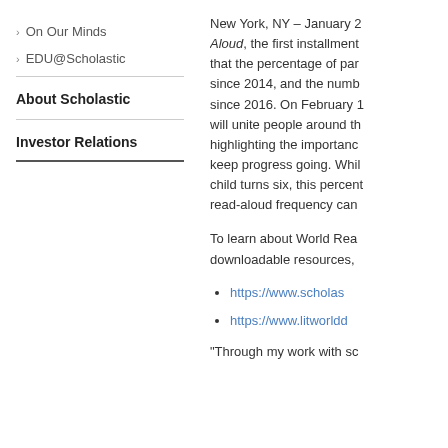On Our Minds
EDU@Scholastic
About Scholastic
Investor Relations
New York, NY – January 2... Aloud, the first installment... that the percentage of par... since 2014, and the numb... since 2016. On February 1... will unite people around th... highlighting the importanc... keep progress going. Whil... child turns six, this percent... read-aloud frequency can...
To learn about World Rea... downloadable resources,...
https://www.scholas...
https://www.litworldd...
“Through my work with sc...